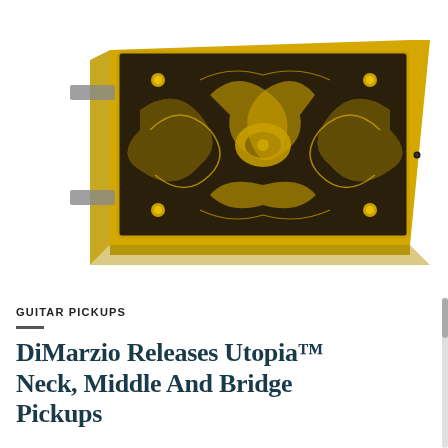[Figure (photo): Close-up photograph of a DiMarzio guitar pickup with ornate gold and dark floral engraving pattern on top, mounted on a metal base with screws]
GUITAR PICKUPS
DiMarzio Releases Utopia™ Neck, Middle And Bridge Pickups
dshowmusic.com – Add comment
Staten Island, N.Y., January 16, 2020 — DiMarzio, Inc. announces the release of the UtoPIA™ Neck (DP287F), UtoPIA™ Middle (DP288F), and UtoPIA™ Bridge (DP289F) pickups for electric guitars. Designed for Steve Vai's…